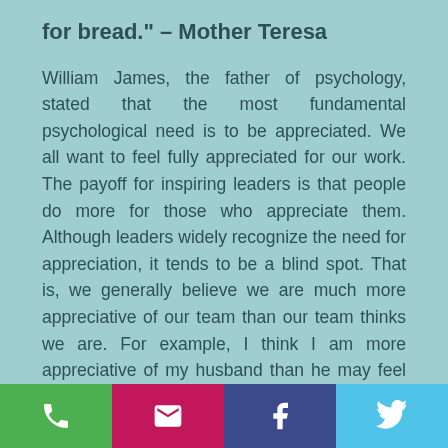for bread." – Mother Teresa
William James, the father of psychology, stated that the most fundamental psychological need is to be appreciated. We all want to feel fully appreciated for our work. The payoff for inspiring leaders is that people do more for those who appreciate them. Although leaders widely recognize the need for appreciation, it tends to be a blind spot. That is, we generally believe we are much more appreciative of our team than our team thinks we are. For example, I think I am more appreciative of my husband than he may feel appreciated by me. The same can be
[Figure (infographic): Footer bar with four social sharing buttons: phone (green), email/envelope (pink/magenta), Facebook (dark blue/navy), Twitter (light blue)]